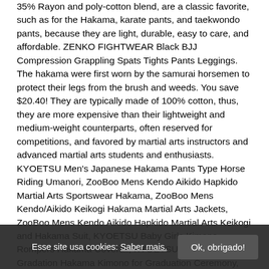35% Rayon and poly-cotton blend, are a classic favorite, such as for the Hakama, karate pants, and taekwondo pants, because they are light, durable, easy to care, and affordable. ZENKO FIGHTWEAR Black BJJ Compression Grappling Spats Tights Pants Leggings. The hakama were first worn by the samurai horsemen to protect their legs from the brush and weeds. You save $20.40! They are typically made of 100% cotton, thus, they are more expensive than their lightweight and medium-weight counterparts, often reserved for competitions, and favored by martial arts instructors and advanced martial arts students and enthusiasts. KYOETSU Men's Japanese Hakama Pants Type Horse Riding Umanori, ZooBoo Mens Kendo Aikido Hapkido Martial Arts Sportswear Hakama, ZooBoo Mens Kendo/Aikido Keikogi Hakama Martial Arts Jackets, ZooBoo Mens Kendo Aikido Hapkido Martial Arts Keikogi and Hakama Suit, KYOETSU Baby Girls Kimono Rompers Hakama Coverall, KYOETSU Women's Gradation Hakama Kimono for Graduation Ceremony, KIKIGOAL Men's Kendo Aikido Hapkido Martial Arts Sportswear Hakama, KYOETSU Women's Japanese Nisyakusode Kimono Flower Pattern Plain Hakama 3-Piece Set, Japanese Kimono Samurai Hakama Bushi Mens Uniform with Tabi Socks Set(CHF010), Fuuka Japanese Men Hakama Plain Umanori Type, Men Trousers
Esse site usa cookies: Saber mais.
Ok, obrigado!